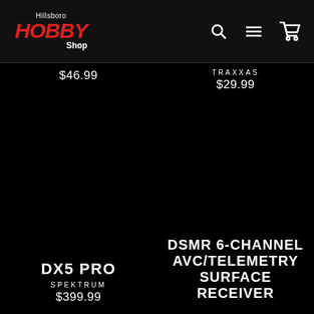[Figure (logo): Hillsboro Hobby Shop logo with red bold italic HOBBY text and white Hillsboro and Shop text]
$46.99
TRAXXAS
$29.99
DX5 PRO
SPEKTRUM
$399.99
DSMR 6-CHANNEL AVC/TELEMETRY SURFACE RECEIVER